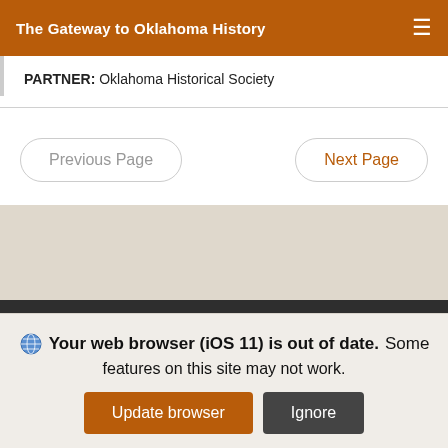The Gateway to Oklahoma History
PARTNER: Oklahoma Historical Society
Previous Page
Next Page
Currently Limited To
Title: Lawton Constitution-Democrat
Type: Newspaper
Your web browser (iOS 11) is out of date. Some features on this site may not work.
Update browser
Ignore